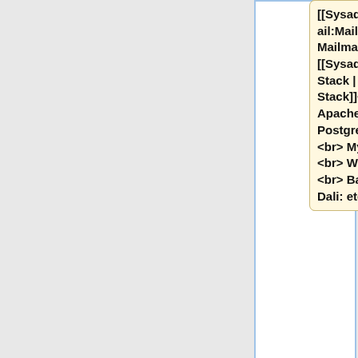[[Sysadmin:Email:Mailman | Mailman]] <br> [[Sysadmin:MailStack | Mail Stack]]<br> Apache2 <br> PostgreSQL <br> MySQL <br> Wiki <br> <br> Backup to Dali: etc, var
|}
{|
style="float:left;
margin-right:2px;"
|
style="height:4